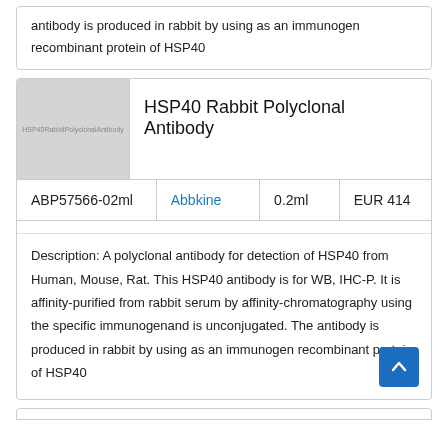antibody is produced in rabbit by using as an immunogen recombinant protein of HSP40
[Figure (photo): Product image placeholder for HSP40 Rabbit Polyclonal Antibody, grey rectangle with text label]
HSP40 Rabbit Polyclonal Antibody
|  | Supplier | Volume | Price |
| --- | --- | --- | --- |
| ABP57566-02ml | Abbkine | 0.2ml | EUR 414 |
Description: A polyclonal antibody for detection of HSP40 from Human, Mouse, Rat. This HSP40 antibody is for WB, IHC-P. It is affinity-purified from rabbit serum by affinity-chromatography using the specific immunogenand is unconjugated. The antibody is produced in rabbit by using as an immunogen recombinant protein of HSP40